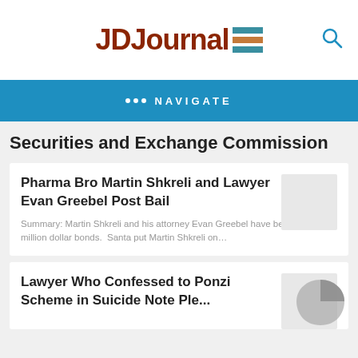[Figure (logo): JDJournal logo with colored horizontal bars]
••• NAVIGATE
Securities and Exchange Commission
Pharma Bro Martin Shkreli and Lawyer Evan Greebel Post Bail
Summary: Martin Shkreli and his attorney Evan Greebel have been freed on million dollar bonds.  Santa put Martin Shkreli on…
Lawyer Who Confessed to Ponzi Scheme in Suicide Note Pleads...